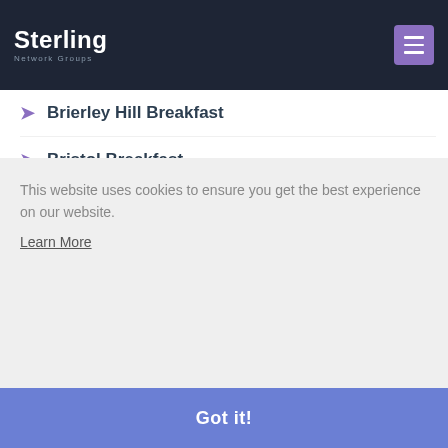Sterling Network Groups
Brierley Hill Breakfast
Bristol Breakfast
Bristol Virtual Lunch
Cheltenham Central Breakfast
Cirencester Breakfast
This website uses cookies to ensure you get the best experience on our website.
Learn More
Got it!